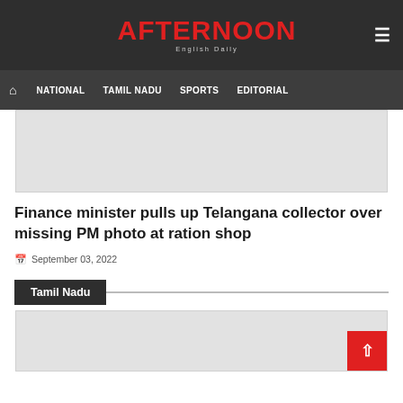AFTERNOON English Daily
[Figure (screenshot): Navigation bar with home icon, NATIONAL, TAMIL NADU, SPORTS, EDITORIAL links on dark background]
[Figure (other): Gray advertisement banner area]
Finance minister pulls up Telangana collector over missing PM photo at ration shop
September 03, 2022
Tamil Nadu
[Figure (other): Gray image/content area at bottom]